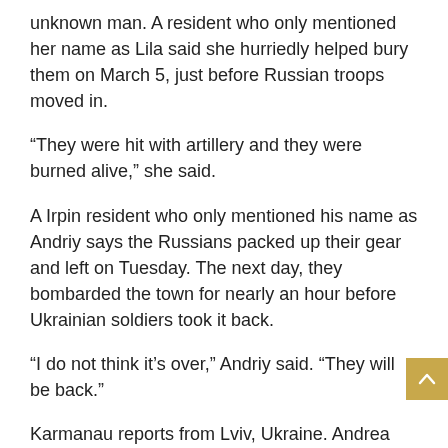unknown man. A resident who only mentioned her name as Lila said she hurriedly helped bury them on March 5, just before Russian troops moved in.
“They were hit with artillery and they were burned alive,” she said.
A Irpin resident who only mentioned his name as Andriy says the Russians packed up their gear and left on Tuesday. The next day, they bombarded the town for nearly an hour before Ukrainian soldiers took it back.
“I do not think it’s over,” Andriy said. “They will be back.”
Karmanau reports from Lviv, Ukraine. Andrea Rosa in Irpin, Ukraine, and Associated Press journalists around the world contributed to this report.